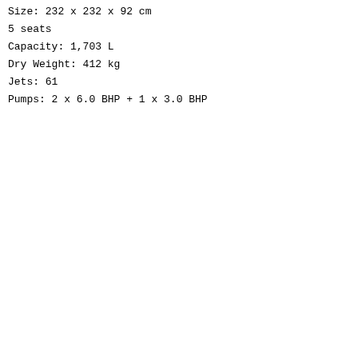Size: 232 x 232 x 92 cm
5 seats
Capacity: 1,703 L
Dry Weight: 412 kg
Jets: 61
Pumps: 2 x 6.0 BHP + 1 x 3.0 BHP